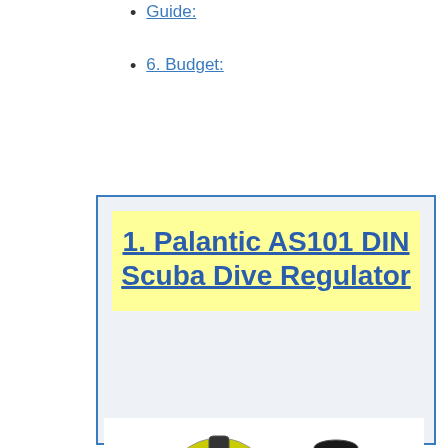Guide:
6. Budget:
1. Palantic AS101 DIN Scuba Dive Regulator
[Figure (photo): Photo of a Palantic AS101 DIN Scuba Dive Regulator showing two components: a first stage regulator with yellow and black circular face labeled PALANTIC, and a second stage regulator mouthpiece, both black and silver colored.]